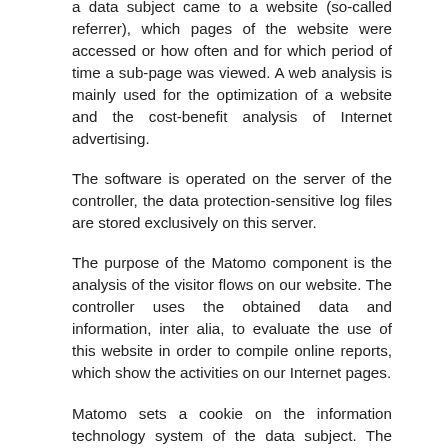a data subject came to a website (so-called referrer), which pages of the website were accessed or how often and for which period of time a sub-page was viewed. A web analysis is mainly used for the optimization of a website and the cost-benefit analysis of Internet advertising.
The software is operated on the server of the controller, the data protection-sensitive log files are stored exclusively on this server.
The purpose of the Matomo component is the analysis of the visitor flows on our website. The controller uses the obtained data and information, inter alia, to evaluate the use of this website in order to compile online reports, which show the activities on our Internet pages.
Matomo sets a cookie on the information technology system of the data subject. The definition of cookies is explained above. With the setting of the cookie, an analysis of the use of our website is enabled. With each call-up to one of the individual pages of this website, the Internet browser on the information